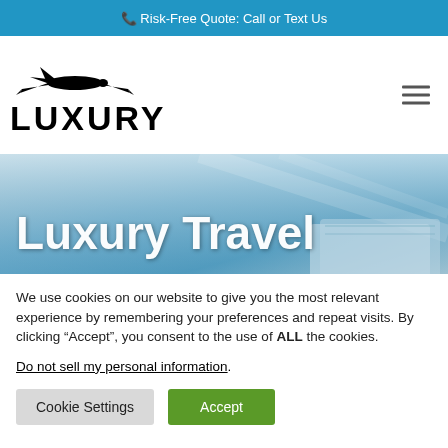Risk-Free Quote: Call or Text Us
[Figure (logo): Luxury travel company logo with airplane silhouette above bold text LUXURY]
[Figure (photo): Hero banner image with sky/travel background and large white text Luxury Travel]
We use cookies on our website to give you the most relevant experience by remembering your preferences and repeat visits. By clicking “Accept”, you consent to the use of ALL the cookies.
Do not sell my personal information.